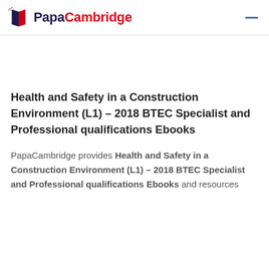[Figure (logo): PapaCambridge logo with book icon and text — 'Papa' in dark navy and 'Cambridge' in red]
Health and Safety in a Construction Environment (L1) – 2018 BTEC Specialist and Professional qualifications Ebooks
PapaCambridge provides Health and Safety in a Construction Environment (L1) – 2018 BTEC Specialist and Professional qualifications Ebooks and resources